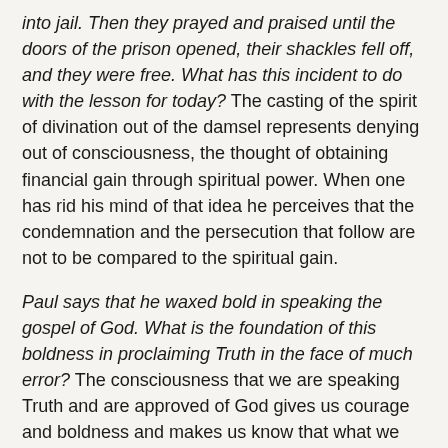into jail. Then they prayed and praised until the doors of the prison opened, their shackles fell off, and they were free. What has this incident to do with the lesson for today? The casting of the spirit of divination out of the damsel represents denying out of consciousness, the thought of obtaining financial gain through spiritual power. When one has rid his mind of that idea he perceives that the condemnation and the persecution that follow are not to be compared to the spiritual gain.
Paul says that he waxed bold in speaking the gospel of God. What is the foundation of this boldness in proclaiming Truth in the face of much error? The consciousness that we are speaking Truth and are approved of God gives us courage and boldness and makes us know that what we teach is Truth, although we may not yet have demonstrated the fact.
Paul said that he was not “seeking glory of men, neither from you nor from others;” he also said that he was not “using words of flattery ... nor a cloak of covetousness.” Are Christians ever guilty of these errors of mortal thought? Many temptations are